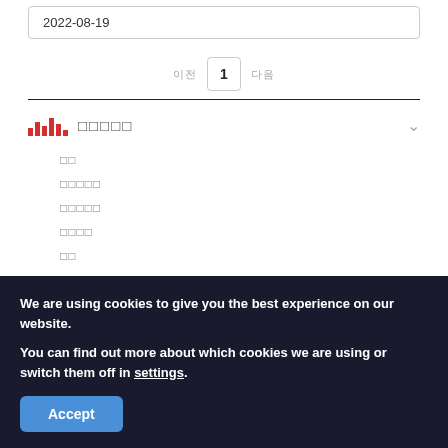2022-08-19
이전 1 다음
□□□□□
□□
□□□□□
□□□□□
□□□□
□□
□□
We are using cookies to give you the best experience on our website.
You can find out more about which cookies we are using or switch them off in settings.
Accept